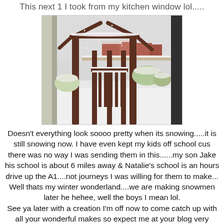This next 1 I took from my kitchen window lol.....
[Figure (photo): A snow-covered backyard garden viewed through a kitchen window. A wooden pergola or gate structure with a house-shaped top is prominently covered in snow. Behind it, snow-covered plants, bushes, and a fence are visible. The scene is overcast and wintry.]
Doesn't everything look soooo pretty when its snowing.....it is still snowing now. I have even kept my kids off school cus there was no way I was sending them in this......my son Jake his school is about 6 miles away & Natalie's school is an hours drive up the A1....not journeys I was willing for them to make...
Well thats my winter wonderland....we are making snowmen later he hehee, well the boys I mean lol.
See ya later with a creation I'm off now to come catch up with all your wonderful makes so expect me at your blog very